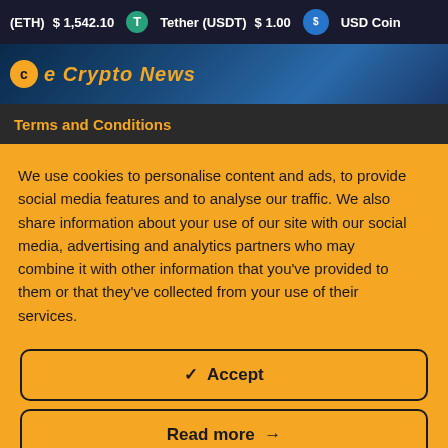(ETH) $1,542.10  Tether (USDT) $1.00  USD Coin
[Figure (screenshot): Crypto news website banner with logo showing stylized crypto news site header]
Terms and Conditions
We use cookies to personalise content and ads, to provide social media features and to analyse our traffic. We also share information about your use of our site with our social media, advertising and analytics partners who may combine it with other information that you’ve provided to them or that they’ve collected from your use of their services.
✓ Accept
Read more →
Change Settings ⚙